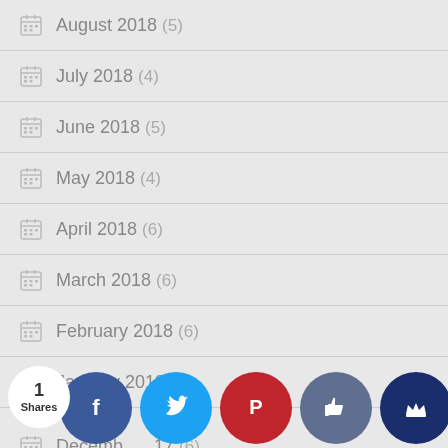August 2018 (5)
July 2018 (4)
June 2018 (5)
May 2018 (4)
April 2018 (6)
March 2018 (6)
February 2018 (6)
January 2018 (8)
December 2017 (6)